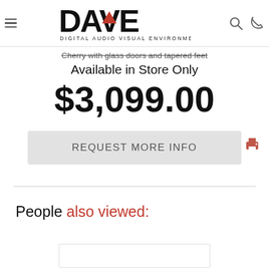DAVE — Digital Audio Visual Environments
Cherry with glass doors and tapered feet
Available in Store Only
$3,099.00
REQUEST MORE INFO
People also viewed: